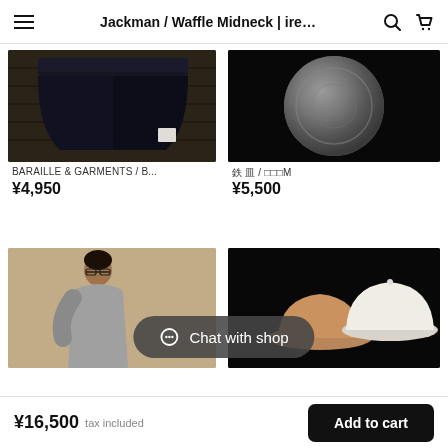Jackman / Waffle Midneck | ire…
[Figure (photo): Dark navy boxer shorts laid flat on wooden surface]
[Figure (photo): Metallic round plate on black background]
BARAILLE & GARMENTS / B...
¥4,950
鉄 皿 / □□□M
¥5,500
[Figure (photo): Man wearing grey shirt standing against beige wall]
[Figure (photo): Baseball caps in white and tan colors on black background]
Chat with shop
¥16,500 tax included   Add to cart